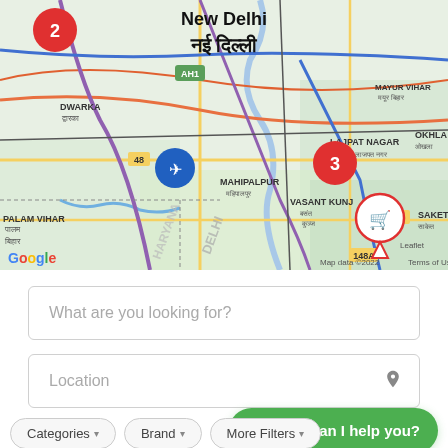[Figure (map): Google Maps showing New Delhi area with markers numbered 2 and 3, a shopping cart location pin near Saket, an airplane icon near Mahipalpur, and area labels including DWARKA, HAUZ KHAS, VASANT KUNJ, SAKET, PALAM VIHAR, MAHIPALPUR, LAJPAT NAGAR, MAYUR VIHAR, OKHLA. Shows highway labels AH1, 48, 19, 148A. Map data ©2022, Terms of Use.]
What are you looking for?
Location
How can I help you?
Categories
Brand
More Filters